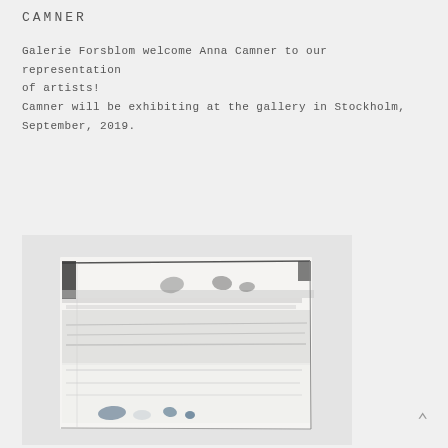CAMNER
Galerie Forsblom welcome Anna Camner to our representation of artists!
Camner will be exhibiting at the gallery in Stockholm, September, 2019.
[Figure (photo): Abstract artwork painting with grey and white tones, horizontal brushstrokes and smudges, small blue marks at the bottom, painted on a roughly rectangular canvas or paper with slight warping.]